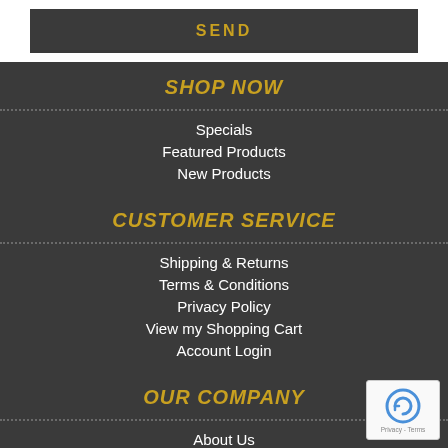SEND
SHOP NOW
Specials
Featured Products
New Products
CUSTOMER SERVICE
Shipping & Returns
Terms & Conditions
Privacy Policy
View my Shopping Cart
Account Login
OUR COMPANY
About Us